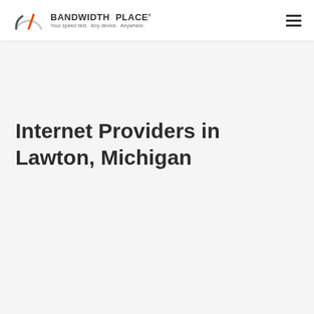BANDWIDTH PLACE — Your speed test. Any device. Anywhere.
Internet Providers in Lawton, Michigan